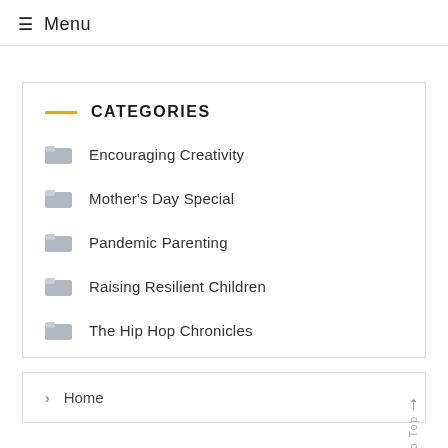≡ Menu
CATEGORIES
Encouraging Creativity
Mother's Day Special
Pandemic Parenting
Raising Resilient Children
The Hip Hop Chronicles
Home